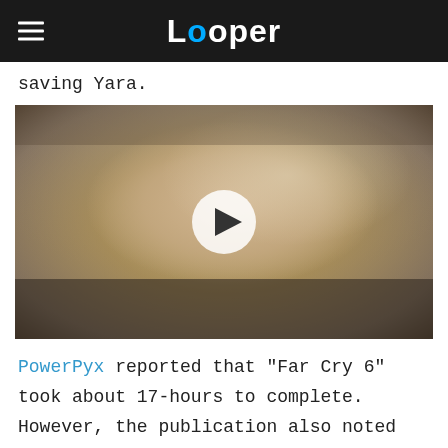Looper
saving Yara.
[Figure (photo): Video thumbnail showing a young man with long blond hair in an outdoor setting, with a play button overlay. Looper website video player.]
PowerPyx reported that "Far Cry 6" took about 17-hours to complete. However, the publication also noted playtime can vary based on factors like